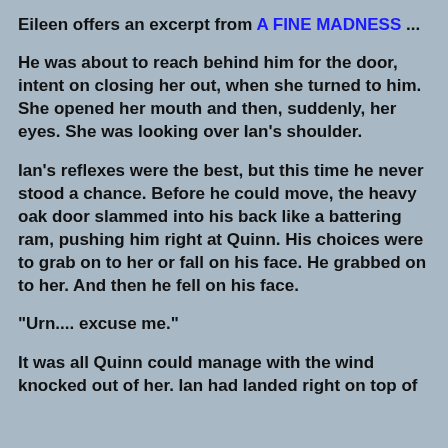Eileen offers an excerpt from A FINE MADNESS ...
He was about to reach behind him for the door, intent on closing her out, when she turned to him. She opened her mouth and then, suddenly, her eyes. She was looking over Ian's shoulder.
Ian's reflexes were the best, but this time he never stood a chance. Before he could move, the heavy oak door slammed into his back like a battering ram, pushing him right at Quinn. His choices were to grab on to her or fall on his face. He grabbed on to her. And then he fell on his face.
"Urn.... excuse me."
It was all Quinn could manage with the wind knocked out of her. Ian had landed right on top of